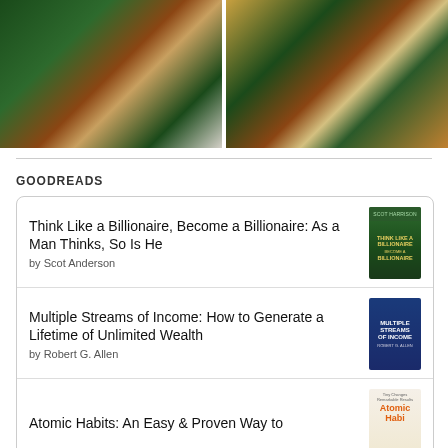[Figure (photo): Two Christmas photos side by side: left shows a nativity scene with ornaments and white lace garland on a Christmas tree; right shows Christmas decorations with lights and ornaments on a tree.]
GOODREADS
Think Like a Billionaire, Become a Billionaire: As a Man Thinks, So Is He
by Scot Anderson
Multiple Streams of Income: How to Generate a Lifetime of Unlimited Wealth
by Robert G. Allen
Atomic Habits: An Easy & Proven Way to